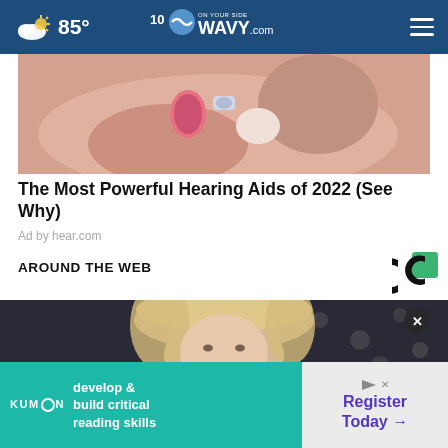85° WAVY.com — On Your Side
[Figure (photo): Close-up photo of a person inserting or adjusting a small hearing aid into their ear, with painted fingernails visible]
The Most Powerful Hearing Aids of 2022 (See Why)
Ad by hear.com
AROUND THE WEB
[Figure (logo): Civic Science logo — black C with green square]
[Figure (photo): Photo of a blonde woman, partial view, dark background]
[Figure (other): Kumon advertisement banner: 'develop & build critical reading skills' with Register Today button]